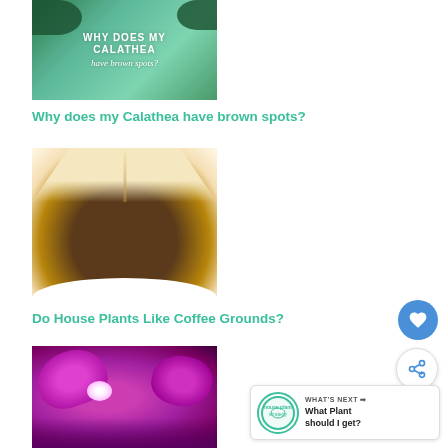[Figure (photo): Blog post thumbnail image with teal background and text 'WHY DOES MY CALATHEA have brown spots?']
Why does my Calathea have brown spots?
[Figure (photo): Close-up photo of coffee grounds in a white filter with liquid dripping through]
Do House Plants Like Coffee Grounds?
[Figure (photo): Close-up photo of a vibrant pink/magenta orchid flower]
[Figure (infographic): WHAT'S NEXT widget with house plant logo, text: What Plant should I get?]